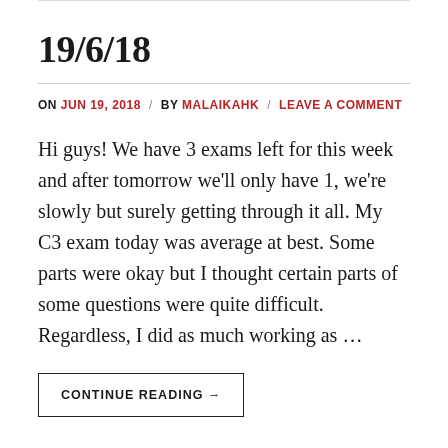19/6/18
ON JUN 19, 2018 / BY MALAIKAHK / LEAVE A COMMENT
Hi guys! We have 3 exams left for this week and after tomorrow we'll only have 1, we're slowly but surely getting through it all. My C3 exam today was average at best. Some parts were okay but I thought certain parts of some questions were quite difficult. Regardless, I did as much working as …
CONTINUE READING →